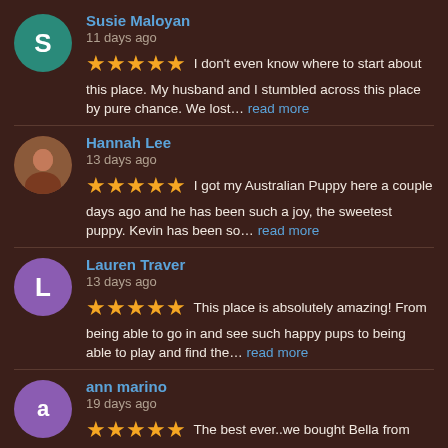Susie Maloyan
11 days ago
★★★★★ I don't even know where to start about this place. My husband and I stumbled across this place by pure chance. We lost... read more
Hannah Lee
13 days ago
★★★★★ I got my Australian Puppy here a couple days ago and he has been such a joy, the sweetest puppy. Kevin has been so... read more
Lauren Traver
13 days ago
★★★★★ This place is absolutely amazing! From being able to go in and see such happy pups to being able to play and find the... read more
ann marino
19 days ago
★★★★★ The best ever..we bought Bella from KIM.  They are all so sweet and helpful. I have always had big dogs like large... read more